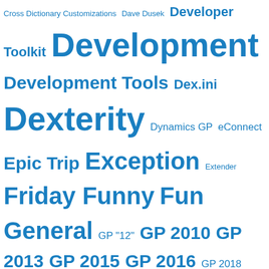Cross Dictionary Customizations Dave Dusek Developer Toolkit Development Development Tools Dex.ini Dexterity Dynamics GP eConnect Epic Trip Exception Extender Friday Funny Fun General GP "12" GP 2010 GP 2013 GP 2015 GP 2016 GP 2018 GP Power Tools GPPT GPUG GPUG Summit 2015 GPUG Summit 2017 GVBR2019 History Hybrid Inside Track Karl Gunderson Menus for Visual Studio Tools Modifier NDM News Patrick Roth Performance Quick Tips reIMAGINE 2015 Report Writer Robocup Junior Robotics RW Functions SDT Security Service Packs Smartlist